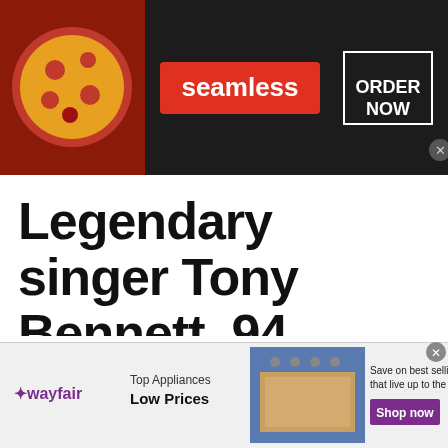[Figure (screenshot): Seamless food delivery advertisement banner with pizza image on dark background, red Seamless logo, and ORDER NOW button]
Legendary singer Tony Bennett, 94, shares health news following Alzheimer's
[Figure (screenshot): Wayfair advertisement banner showing Top Appliances Low Prices with stove image and Shop now button in purple]